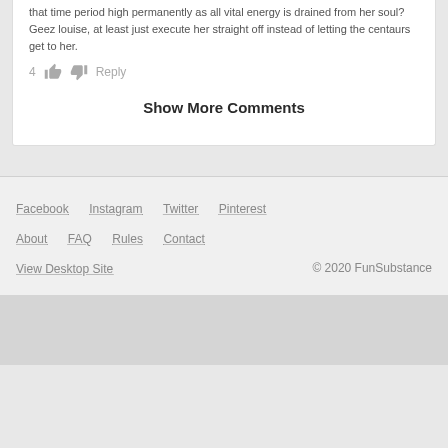that time period high permanently as all vital energy is drained from her soul? Geez louise, at least just execute her straight off instead of letting the centaurs get to her.
4  [thumbs up] [thumbs down]  Reply
Show More Comments
Facebook  Instagram  Twitter  Pinterest
About  FAQ  Rules  Contact
View Desktop Site  © 2020 FunSubstance